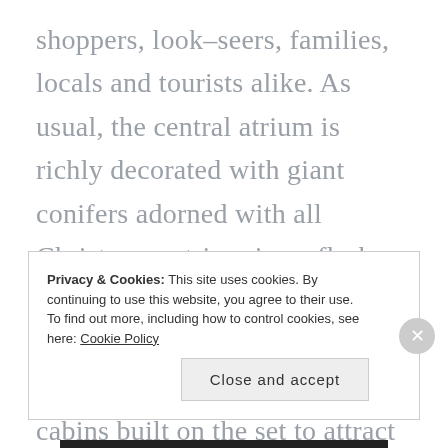shoppers, look–seers, families, locals and tourists alike. As usual, the central atrium is richly decorated with giant conifers adorned with all Christmassy trimmings, flashy lights, fake snow, icicles, silver globes and golden bells. This year, there are two log and stone cabins built on the set to attract visitors, and I think they do look pretty realistic, compared to yesteryears, where these were usually painted scenes on flat plywood and styrofoam. Today, set designs have
Privacy & Cookies: This site uses cookies. By continuing to use this website, you agree to their use.
To find out more, including how to control cookies, see here: Cookie Policy
Close and accept